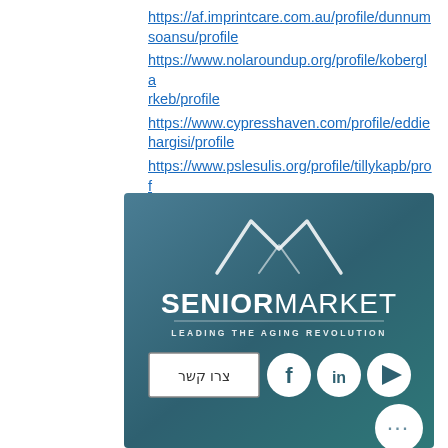https://af.imprintcare.com.au/profile/dunnumsoansu/profile
https://www.nolaroundup.org/profile/koberglarkeb/profile
https://www.cypresshaven.com/profile/eddiehargisi/profile
https://www.pslesulis.org/profile/tillykapb/profile
[Figure (logo): Senior Market - Leading the Aging Revolution banner with mountain logo, contact button in Hebrew (צרו קשר), Facebook, LinkedIn, YouTube social icons, and a more options button (...)]